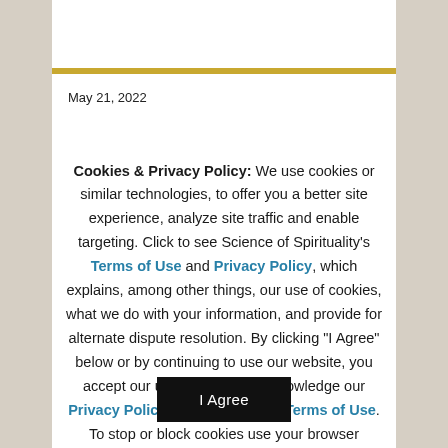May 21, 2022
Cookies & Privacy Policy: We use cookies or similar technologies, to offer you a better site experience, analyze site traffic and enable targeting. Click to see Science of Spirituality's Terms of Use and Privacy Policy, which explains, among other things, our use of cookies, what we do with your information, and provide for alternate dispute resolution. By clicking "I Agree" below or by continuing to use our website, you accept our use of cookies, acknowledge our Privacy Policy, and agree to our Terms of Use. To stop or block cookies use your browser settings, refer to the Privacy Policy for more details.
I Agree